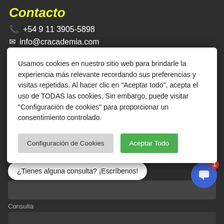Contacto
+54 9 11 3905-5898
info@cracademia.com
Usamos cookies en nuestro sitio web para brindarle la experiencia más relevante recordando sus preferencias y visitas repetidas. Al hacer clic en "Aceptar todo", acepta el uso de TODAS las cookies. Sin embargo, puede visitar "Configuración de cookies" para proporcionar un consentimiento controlado.
Configuración de Cookies
Aceptar Todo
Correo Electrónico
¿Tienes alguna consulta? ¡Escríbenos!
Consulta